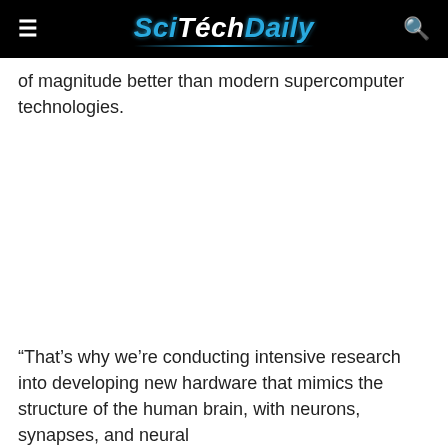SciTechDaily
of magnitude better than modern supercomputer technologies.
“That’s why we’re conducting intensive research into developing new hardware that mimics the structure of the human brain, with neurons, synapses, and neural